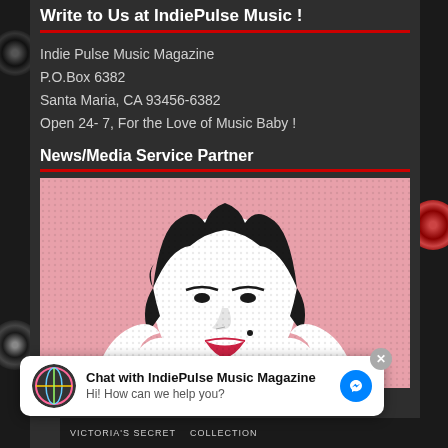Write to Us at IndiePulse Music !
Indie Pulse Music Magazine
P.O.Box 6382
Santa Maria, CA 93456-6382
Open 24- 7, For the Love of Music Baby !
News/Media Service Partner
[Figure (photo): Pop art style illustration of Marilyn Monroe with pink background, black and white halftone style artwork]
Chat with IndiePulse Music Magazine
Hi! How can we help you?